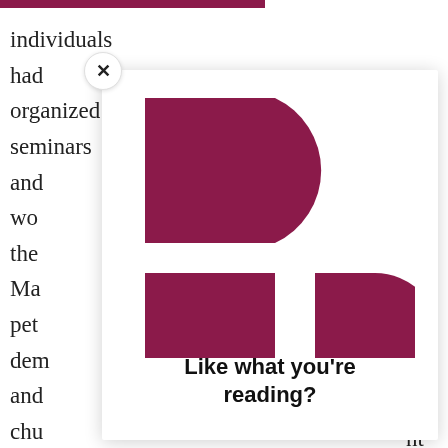individuals had organized seminars and workshops ... f the ... in Ma... pet... dem... and... chu... y for... inv... on Jun... es are... nt Pro... tim...
[Figure (logo): Politico logo composed of maroon/dark pink geometric shapes forming stylized 'P': a large rectangle with a D-shape (half circle) on top forming the bowl, and a smaller rectangle below with a smaller D-shape to its right]
Like what you're reading?